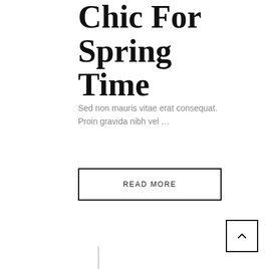Chic For Spring Time
Sed non mauris vitae erat consequat. Proin gravida nibh vel …
READ MORE
[Figure (other): Scroll-to-top button with upward chevron arrow, small square with border]